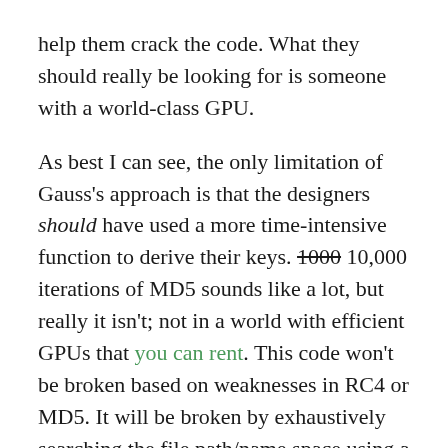help them crack the code. What they should really be looking for is someone with a world-class GPU.
As best I can see, the only limitation of Gauss's approach is that the designers should have used a more time-intensive function to derive their keys. 1000 10,000 iterations of MD5 sounds like a lot, but really it isn't; not in a world with efficient GPUs that you can rent. This code won't be broken based on weaknesses in RC4 or MD5. It will be broken by exhaustively searching the file path/name space using a GPU (or even FPGA)-based system, or possibly just getting lucky.
No doubt Kaspersky is working on such a project right now. If we learn anything more about the mystery of Godel, it will almost certainly come from that work.